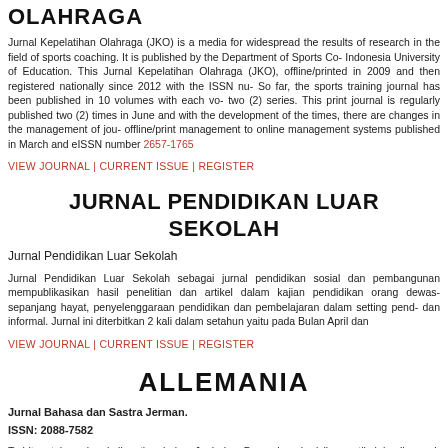OLAHRAGA
Jurnal Kepelatihan Olahraga (JKO) is a media for widespread the results of research in the field of sports coaching. It is published by the Department of Sports Co... Indonesia University of Education. This Jurnal Kepelatihan Olahraga (JKO), offline/printed in 2009 and then registered nationally since 2012 with the ISSN nu... So far, the sports training journal has been published in 10 volumes with each vo... two (2) series. This print journal is regularly published two (2) times in June an... with the development of the times, there are changes in the management of jou... offline/print management to online management systems published in March an... eISSN number 2657-1765
VIEW JOURNAL | CURRENT ISSUE | REGISTER
JURNAL PENDIDIKAN LUAR SEKOLAH
Jurnal Pendidikan Luar Sekolah
Jurnal Pendidikan Luar Sekolah sebagai jurnal pendidikan sosial dan pembangunan... mempublikasikan hasil penelitian dan artikel dalam kajian pendidikan orang dewasa... sepanjang hayat, penyelenggaraan pendidikan dan pembelajaran dalam setting pend... dan informal. Jurnal ini diterbitkan 2 kali dalam setahun yaitu pada Bulan April dan...
VIEW JOURNAL | CURRENT ISSUE | REGISTER
ALLEMANIA
Jurnal Bahasa dan Sastra Jerman.
ISSN: 2088-7582
Terbit setahun dua kali setiap bulan Juni dan Desember, berisikan artikel hasil penel... maupun aplikasi) serta resensi pustaka sekitar pendidikan bahasa dan sastra Jerma...